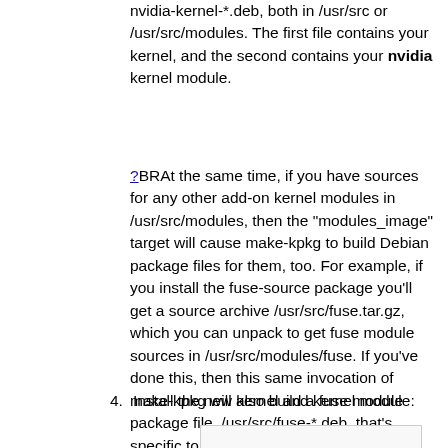nvidia-kernel-*.deb, both in /usr/src or /usr/src/modules. The first file contains your kernel, and the second contains your nvidia kernel module.
?BRAt the same time, if you have sources for any other add-on kernel modules in /usr/src/modules, then the "modules_image" target will cause make-kpkg to build Debian package files for them, too. For example, if you install the fuse-source package you'll get a source archive /usr/src/fuse.tar.gz, which you can unpack to get fuse module sources in /usr/src/modules/fuse. If you've done this, then this same invocation of make-kpkg will also build a fuse module package file, /usr/src/fuse-*.deb, that's specific to your new kernel.
4.  Install the new kernel and kernel module: